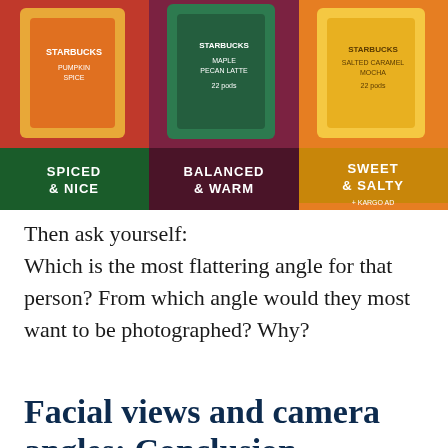[Figure (advertisement): Starbucks advertisement banner with three product cards: 'SPICED & NICE' on orange/red background, 'BALANCED & WARM' on dark red background, and 'SWEET & SALTY' on orange background, with Starbucks logo boxes on top. Tagged with KARGO AD.]
Then ask yourself:
Which is the most flattering angle for that person? From which angle would they most want to be photographed? Why?
Facial views and camera angles: Conclusion
Now that you've finished this article, you should be well on your way to using face angles and camera angles to create stunning portraits